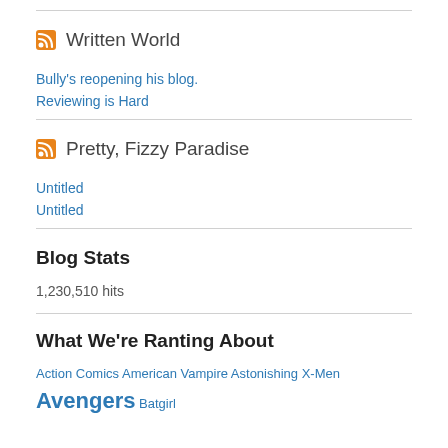Written World
Bully's reopening his blog.
Reviewing is Hard
Pretty, Fizzy Paradise
Untitled
Untitled
Blog Stats
1,230,510 hits
What We're Ranting About
Action Comics American Vampire Astonishing X-Men Avengers Batgirl